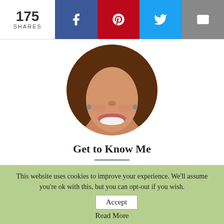175 SHARES
[Figure (photo): Circular profile photo of a smiling woman with curly hair]
Get to Know Me
Welcome! So glad to meet you! My name is Dawn and I'm the founder of Crazy Organic Mama. I'm a wife, mom and gardener for more than 25 years. My passion is showing new gardeners that they
This website uses cookies to improve your experience. We'll assume you're ok with this, but you can opt-out if you wish.  Accept  Read More